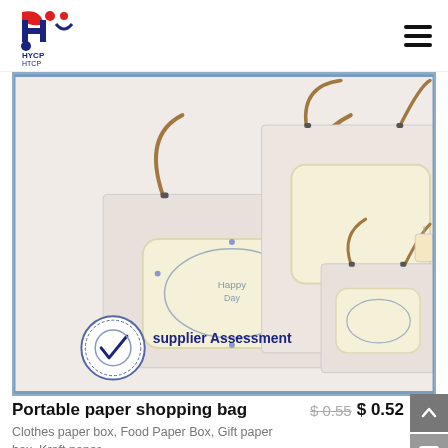[Figure (logo): HYCP company logo with red and blue geometric design and text HYCP]
[Figure (photo): Three light pink paper shopping bags of different sizes with rope handles and decorated labels, plus a 'supplier Assessment' badge in the corner]
Portable paper shopping bag
Clothes paper box, Food Paper Box, Gift paper box, Kraft paper
$ 0.55  $ 0.52